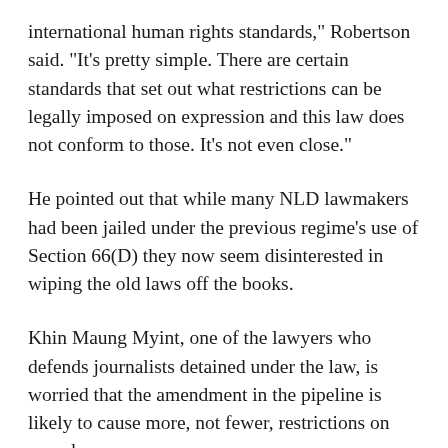international human rights standards," Robertson said. "It's pretty simple. There are certain standards that set out what restrictions can be legally imposed on expression and this law does not conform to those. It's not even close."
He pointed out that while many NLD lawmakers had been jailed under the previous regime's use of Section 66(D) they now seem disinterested in wiping the old laws off the books.
Khin Maung Myint, one of the lawyers who defends journalists detained under the law, is worried that the amendment in the pipeline is likely to cause more, not fewer, restrictions on speech.
"This amendment does not change the main problem, which is that it remains solely in the power of the